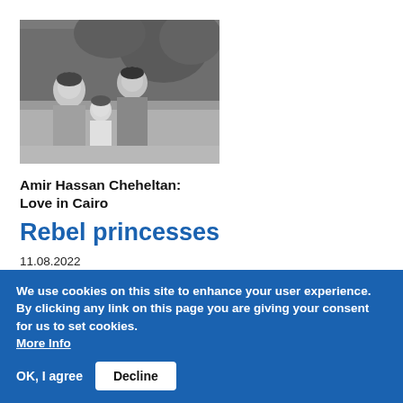[Figure (photo): Black and white photograph of a man and woman seated with a child between them, outdoors near a fountain or garden setting.]
Amir Hassan Cheheltan: Love in Cairo
Rebel princesses
11.08.2022
Amir Hassan Cheheltan's historical narratives from the Arab world continue in Egypt, with an
We use cookies on this site to enhance your user experience. By clicking any link on this page you are giving your consent for us to set cookies. More Info
OK, I agree   Decline